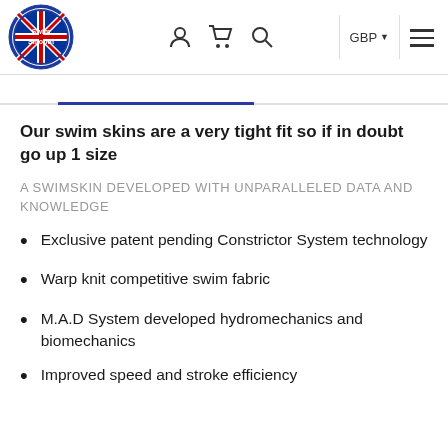[Figure (logo): Swim Smooth logo with UK flag, circular blue border]
Our swim skins are a very tight fit so if in doubt go up 1 size
A SWIMSKIN DEVELOPED WITH UNPARALLELED DATA AND KNOWLEDGE
Exclusive patent pending Constrictor System technology
Warp knit competitive swim fabric
M.A.D System developed hydromechanics and biomechanics
Improved speed and stroke efficiency